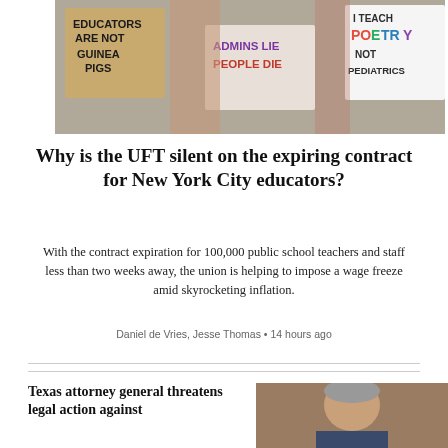[Figure (photo): Protesters holding signs reading 'Educators Are Not Guinea Pigs', 'Admins Lie People Die', and 'I Teach Poetry Not Pediatrics']
Why is the UFT silent on the expiring contract for New York City educators?
With the contract expiration for 100,000 public school teachers and staff less than two weeks away, the union is helping to impose a wage freeze amid skyrocketing inflation.
Daniel de Vries, Jesse Thomas • 14 hours ago
Texas attorney general threatens legal action against